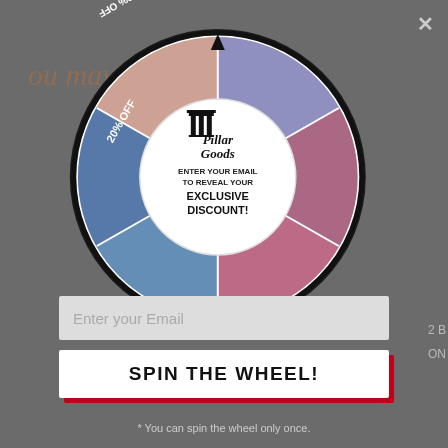[Figure (donut-chart): A donut-style prize wheel with 6 segments in various colors (purple, mauve/pink, rose, steel blue, blue, salmon/peach), each labeled with a discount percentage. The center shows the Pillar Goods logo and text 'ENTER YOUR EMAIL TO REVEAL YOUR EXCLUSIVE DISCOUNT!']
* You can spin the wheel only once.